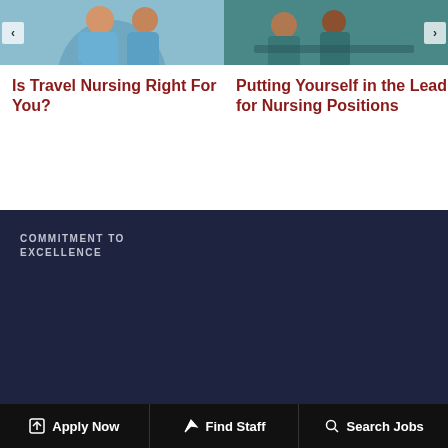[Figure (photo): Photo of a nurse in scrubs, with a left arrow navigation button]
[Figure (photo): Photo of healthcare workers at a desk, with a right arrow navigation button]
Is Travel Nursing Right For You?
Putting Yourself in the Lead for Nursing Positions
COMMITMENT TO EXCELLENCE
[Figure (illustration): The Joint Commission gold medal seal/logo]
AWARDS & HONORS
[Figure (logo): Award logos: Inc. 500, Business Journal, Ranking Arizona, ACE Awards 2016]
Apply Now   Find Staff   Search Jobs